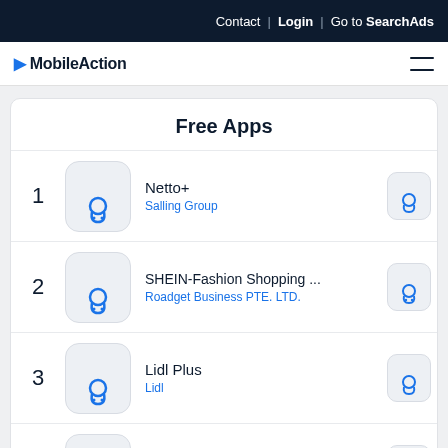Contact | Login | Go to SearchAds
MobileAction
Free Apps
1  Netto+  Salling Group
2  SHEIN-Fashion Shopping ...  Roadget Business PTE. LTD.
3  Lidl Plus  Lidl
4  REMA 1000 – Scan Selv  REMA 1000